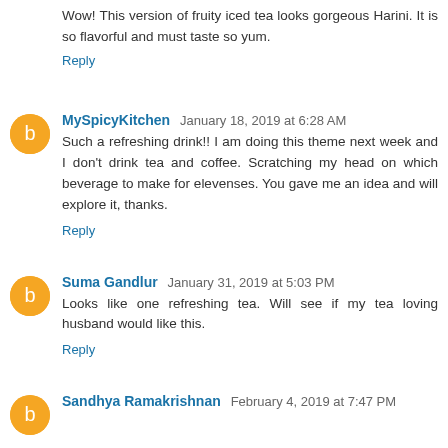Wow! This version of fruity iced tea looks gorgeous Harini. It is so flavorful and must taste so yum.
Reply
MySpicyKitchen January 18, 2019 at 6:28 AM
Such a refreshing drink!! I am doing this theme next week and I don't drink tea and coffee. Scratching my head on which beverage to make for elevenses. You gave me an idea and will explore it, thanks.
Reply
Suma Gandlur January 31, 2019 at 5:03 PM
Looks like one refreshing tea. Will see if my tea loving husband would like this.
Reply
Sandhya Ramakrishnan February 4, 2019 at 7:47 PM